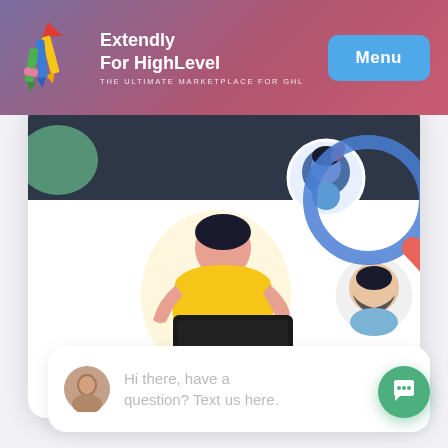Extendly For HighLevel — THE ULTIMATE MARKETPLACE FOR GHL
[Figure (illustration): Screenshot of Extendly For HighLevel website header with logo (colorful pencils/markers icon), brand name, tagline 'THE ULTIMATE MARKETPLACE FOR GHL', and a blue 'Menu' button. Below is an illustration card showing a person sitting cross-legged with a laptop, two circular avatar portraits, and a large blue magnifying glass graphic. A 'close' text appears at the bottom right of the card. Below the card is a chat widget showing an avatar photo and the text 'Hi there, have a question? Text us here.' A green chat bubble button appears at bottom right.]